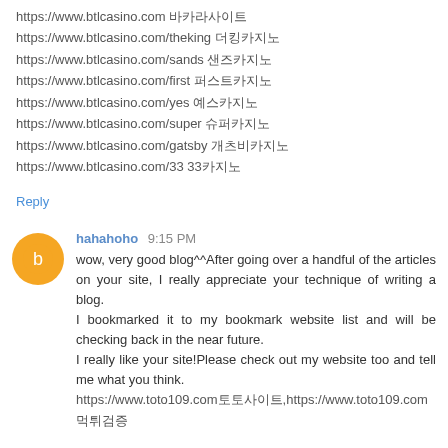https://www.btlcasino.com 바카라사이트
https://www.btlcasino.com/theking 더킹카지노
https://www.btlcasino.com/sands 샌즈카지노
https://www.btlcasino.com/first 퍼스트카지노
https://www.btlcasino.com/yes 예스카지노
https://www.btlcasino.com/super 슈퍼카지노
https://www.btlcasino.com/gatsby 개츠비카지노
https://www.btlcasino.com/33 33카지노
Reply
hahahoho 9:15 PM
wow, very good blog^^After going over a handful of the articles on your site, I really appreciate your technique of writing a blog.
I bookmarked it to my bookmark website list and will be checking back in the near future.
I really like your site!Please check out my website too and tell me what you think.
https://www.toto109.com토토사이트,https://www.toto109.com먹튀검증
Reply